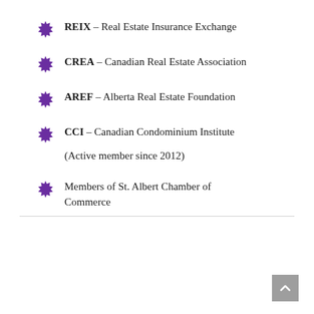REIX – Real Estate Insurance Exchange
CREA – Canadian Real Estate Association
AREF – Alberta Real Estate Foundation
CCI – Canadian Condominium Institute (Active member since 2012)
Members of St. Albert Chamber of Commerce